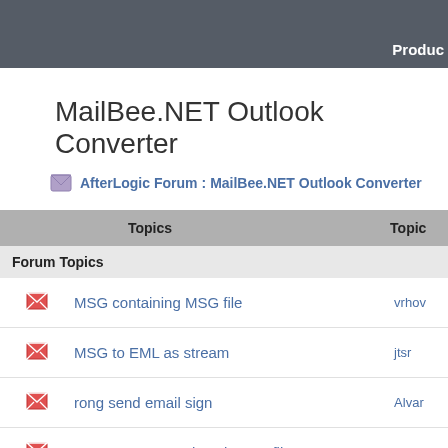Produc
MailBee.NET Outlook Converter
AfterLogic Forum : MailBee.NET Outlook Converter
| Topics | Topic |
| --- | --- |
| Forum Topics |  |
| MSG containing MSG file | vrhov |
| MSG to EML as stream | jtsr |
| rong send email sign | Alvar |
| Wrong FROM and TO in msg file | iwhitn |